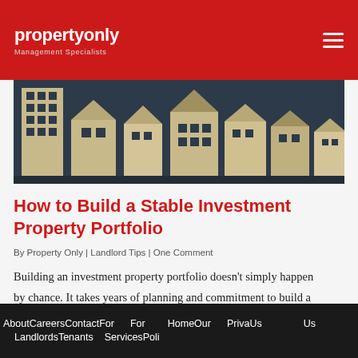propertyonly Management Specialists
[Figure (illustration): Hero image showing wooden house figurines of varying sizes arranged in a row against a dark background]
How to Build a Stable Investment Property Portfolio
By Property Only | Landlord Tips | One Comment
Building an investment property portfolio doesn’t simply happen by chance. It takes years of planning and commitment to build a property empire, and strategy is your best friend. While there’s
About Us  Careers  Contact For Us  For Landlords  Tenants  Home  Our Services  Priva Poli